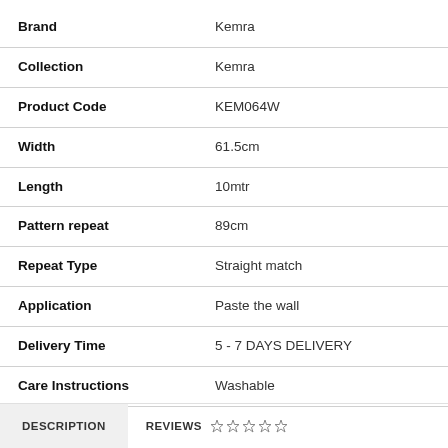| Attribute | Value |
| --- | --- |
| Brand | Kemra |
| Collection | Kemra |
| Product Code | KEM064W |
| Width | 61.5cm |
| Length | 10mtr |
| Pattern repeat | 89cm |
| Repeat Type | Straight match |
| Application | Paste the wall |
| Delivery Time | 5 - 7 DAYS DELIVERY |
| Care Instructions | Washable |
DESCRIPTION   REVIEWS ☆ ☆ ☆ ☆ ☆